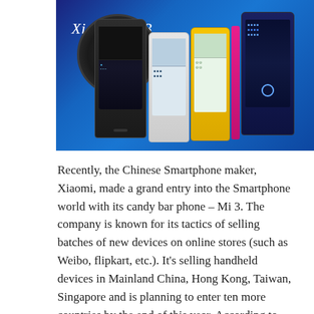[Figure (photo): Promotional photo of Xiaomi Mi 3 smartphones in multiple colors (black, white, yellow, pink, dark blue) arranged side by side against a blue background. Text 'Xiaomi Mi 3' in white italic appears in upper left.]
Recently, the Chinese Smartphone maker, Xiaomi, made a grand entry into the Smartphone world with its candy bar phone – Mi 3. The company is known for its tactics of selling batches of new devices on online stores (such as Weibo, flipkart, etc.). It's selling handheld devices in Mainland China, Hong Kong, Taiwan, Singapore and is planning to enter ten more countries by the end of this year. According to reports, the Chinese company, Xiaomi, is outpacing Apple on sales in the gigantic,